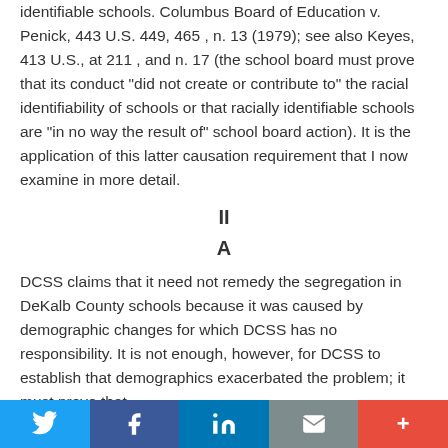identifiable schools. Columbus Board of Education v. Penick, 443 U.S. 449, 465 , n. 13 (1979); see also Keyes, 413 U.S., at 211 , and n. 17 (the school board must prove that its conduct "did not create or contribute to" the racial identifiability of schools or that racially identifiable schools are "in no way the result of" school board action). It is the application of this latter causation requirement that I now examine in more detail.
II
A
DCSS claims that it need not remedy the segregation in DeKalb County schools because it was caused by demographic changes for which DCSS has no responsibility. It is not enough, however, for DCSS to establish that demographics exacerbated the problem; it must prove that